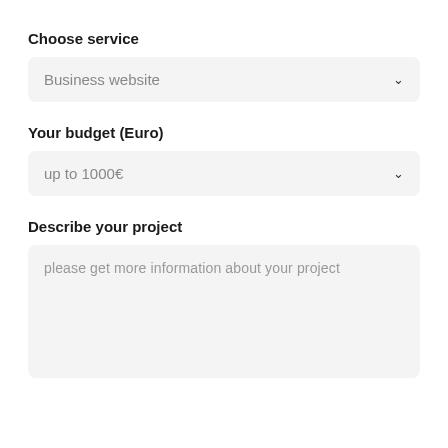Choose service
[Figure (screenshot): Dropdown selector showing 'Business website' with chevron icon, light grey background]
Your budget (Euro)
[Figure (screenshot): Dropdown selector showing 'up to 1000€' with chevron icon, light grey background]
Describe your project
[Figure (screenshot): Textarea input with placeholder text 'please get more information about your project', light grey background]